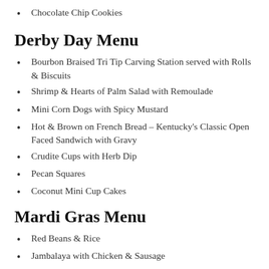Chocolate Chip Cookies
Derby Day Menu
Bourbon Braised Tri Tip Carving Station served with Rolls & Biscuits
Shrimp & Hearts of Palm Salad with Remoulade
Mini Corn Dogs with Spicy Mustard
Hot & Brown on French Bread – Kentucky's Classic Open Faced Sandwich with Gravy
Crudite Cups with Herb Dip
Pecan Squares
Coconut Mini Cup Cakes
Mardi Gras Menu
Red Beans & Rice
Jambalaya with Chicken & Sausage
Muffulotta Salad Boards – Assorted Cheeses